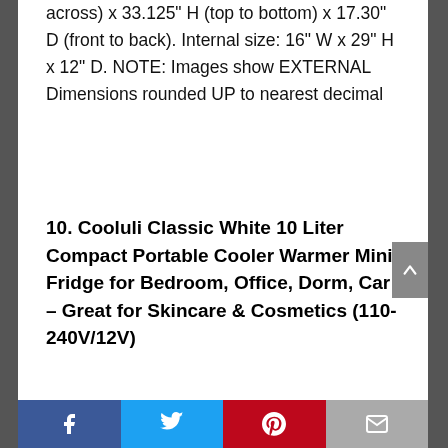across) x 33.125" H (top to bottom) x 17.30" D (front to back). Internal size: 16" W x 29" H x 12" D. NOTE: Images show EXTERNAL Dimensions rounded UP to nearest decimal
10. Cooluli Classic White 10 Liter Compact Portable Cooler Warmer Mini Fridge for Bedroom, Office, Dorm, Car – Great for Skincare & Cosmetics (110-240V/12V)